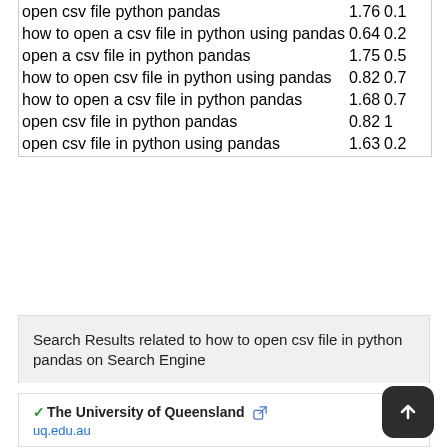| Query | Col1 | Col2 |
| --- | --- | --- |
| open csv file python pandas | 1.76 | 0.1 |
| how to open a csv file in python using pandas | 0.64 | 0.2 |
| open a csv file in python pandas | 1.75 | 0.5 |
| how to open csv file in python using pandas | 0.82 | 0.7 |
| how to open a csv file in python pandas | 1.68 | 0.7 |
| open csv file in python pandas | 0.82 | 1 |
| open csv file in python using pandas | 1.63 | 0.2 |
Search Results related to how to open csv file in python pandas on Search Engine
The University of Queensland uq.edu.au